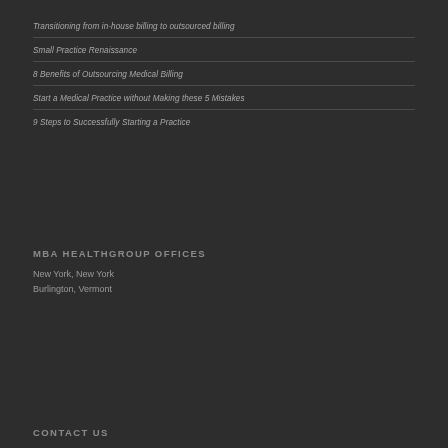Transitioning from in-house billing to outsourced billing
Small Practice Renaissance
8 Benefits of Outsourcing Medical Billing
Start a Medical Practice without Making these 5 Mistakes
9 Steps to Successfully Starting a Practice
MBA HEALTHGROUP OFFICES
New York, New York
Burlington, Vermont
CONTACT US